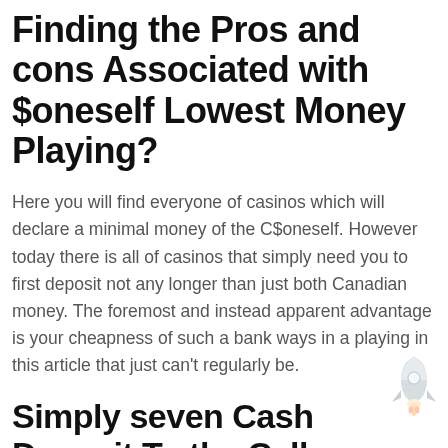Finding the Pros and cons Associated with $oneself Lowest Money Playing?
Here you will find everyone of casinos which will declare a minimal money of the C$oneself. However today there is all of casinos that simply need you to first deposit not any longer than just both Canadian money. The foremost and instead apparent advantage is your cheapness of such a bank ways in a playing in this article that just can’t regularly be.
Simply seven Cash Deposit To the Cell Gambling In your pocket
A person name gambling casino with content of customer